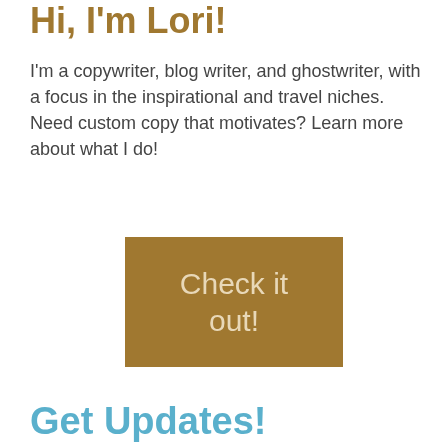Hi, I'm Lori!
I'm a copywriter, blog writer, and ghostwriter, with a focus in the inspirational and travel niches. Need custom copy that motivates? Learn more about what I do!
[Figure (other): A tan/gold colored call-to-action button with the text 'Check it out!' in beige/cream colored font]
Get Updates!